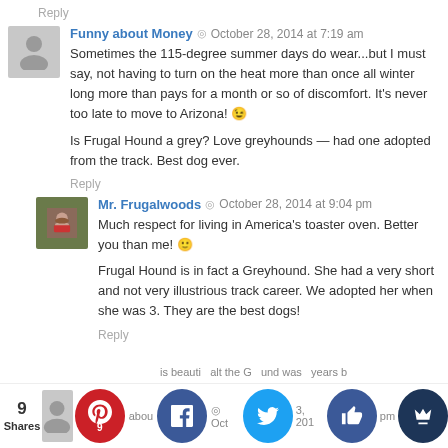Reply
Funny about Money  ◎  October 28, 2014 at 7:19 am
Sometimes the 115-degree summer days do wear...but I must say, not having to turn on the heat more than once all winter long more than pays for a month or so of discomfort. It's never too late to move to Arizona! 😉

Is Frugal Hound a grey? Love greyhounds — had one adopted from the track. Best dog ever.
Reply
Mr. Frugalwoods  ◎  October 28, 2014 at 9:04 pm
Much respect for living in America's toaster oven. Better you than me! 🙂

Frugal Hound is in fact a Greyhound. She had a very short and not very illustrious track career. We adopted her when she was 3. They are the best dogs!
Reply
9 Shares
abou  ◎  Oct  3, 201  pm  is beauti  alt the G  und was  years b